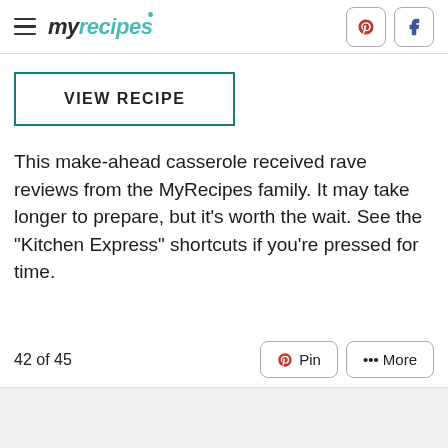myrecipes
VIEW RECIPE
This make-ahead casserole received rave reviews from the MyRecipes family. It may take longer to prepare, but it's worth the wait. See the "Kitchen Express" shortcuts if you're pressed for time.
42 of 45